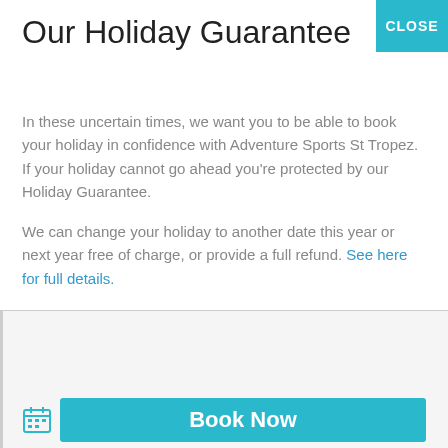Our Holiday Guarantee
CLOSE
In these uncertain times, we want you to be able to book your holiday in confidence with Adventure Sports St Tropez. If your holiday cannot go ahead you’re protected by our Holiday Guarantee.
We can change your holiday to another date this year or next year free of charge, or provide a full refund. See here for full details.
Where Are They Now? – featuring Adventure Sports St Tropez
Book Now
g